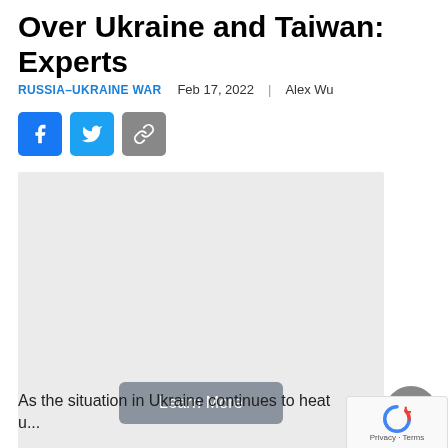Over Ukraine and Taiwan: Experts
RUSSIA–UKRAINE WAR   Feb 17, 2022  |  Alex Wu
[Figure (other): Social media share buttons: Facebook, Twitter, and link/copy icon]
[Figure (other): Advertisement placeholder with 'Learn More' button]
As the situation in Ukraine continues to heat u...